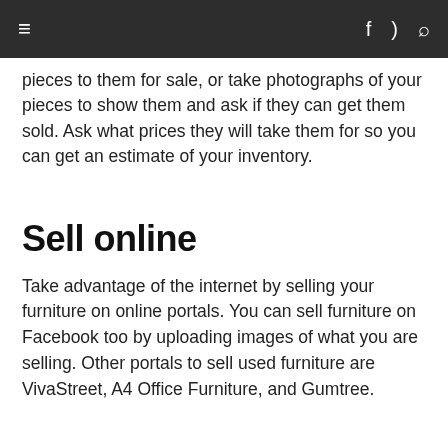≡  f  ⊃  🔍
pieces to them for sale, or take photographs of your pieces to show them and ask if they can get them sold. Ask what prices they will take them for so you can get an estimate of your inventory.
Sell online
Take advantage of the internet by selling your furniture on online portals. You can sell furniture on Facebook too by uploading images of what you are selling. Other portals to sell used furniture are VivaStreet, A4 Office Furniture, and Gumtree.